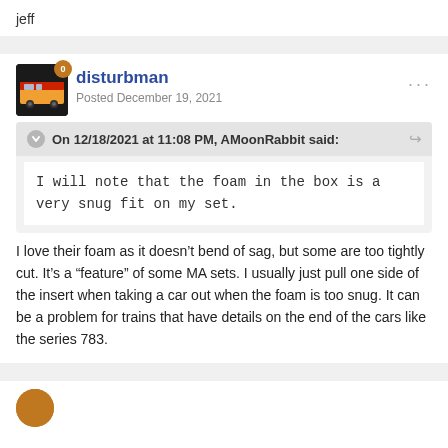jeff
disturbman
Posted December 19, 2021
On 12/18/2021 at 11:08 PM, AMoonRabbit said:
I will note that the foam in the box is a very snug fit on my set.
I love their foam as it doesn't bend of sag, but some are too tightly cut. It's a “feature” of some MA sets. I usually just pull one side of the insert when taking a car out when the foam is too snug. It can be a problem for trains that have details on the end of the cars like the series 783.